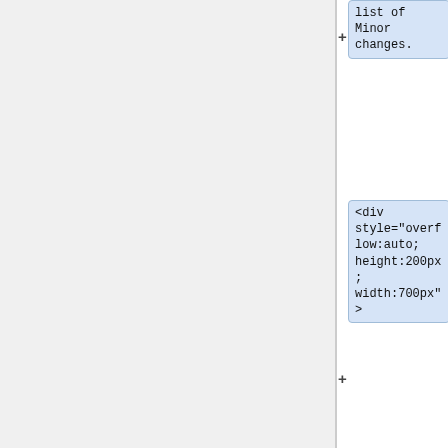list of Minor changes.
<div style="overflow:auto; height:200px; width:700px">
{| class="wikitable" style="background:yellow; color:black"
|-
|-
| -
| -
| -
||Updated||